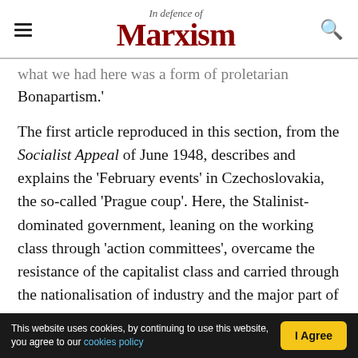In Defence of Marxism
what we had here was a form of proletarian Bonapartism.'
The first article reproduced in this section, from the Socialist Appeal of June 1948, describes and explains the 'February events' in Czechoslovakia, the so-called 'Prague coup'. Here, the Stalinist-dominated government, leaning on the working class through 'action committees', overcame the resistance of the capitalist class and carried through the nationalisation of industry and the major part of the economy. The end result, as the article explained, provided 'the economic basis for a
This website uses cookies, by continuing to use this website, you agree to our cookies policy | I Agree